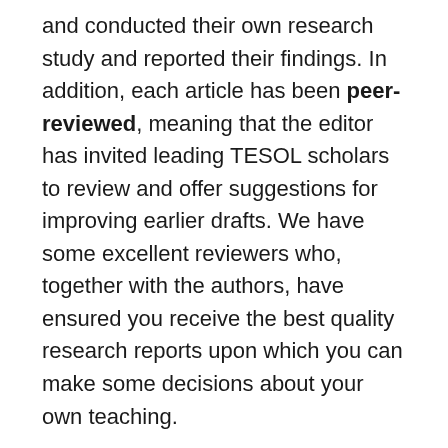and conducted their own research study and reported their findings. In addition, each article has been peer-reviewed, meaning that the editor has invited leading TESOL scholars to review and offer suggestions for improving earlier drafts. We have some excellent reviewers who, together with the authors, have ensured you receive the best quality research reports upon which you can make some decisions about your own teaching.
In order to assist those who are new to reading research articles, the moderator will orient you by providing a summary of the research design and the overall